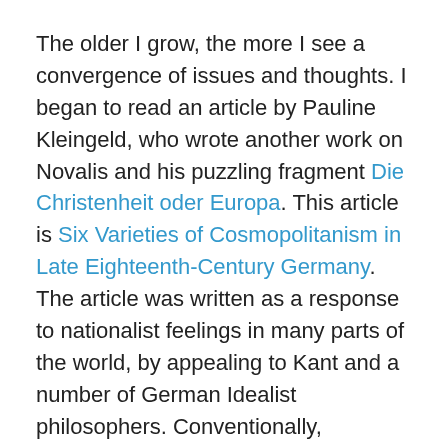The older I grow, the more I see a convergence of issues and thoughts. I began to read an article by Pauline Kleingeld, who wrote another work on Novalis and his puzzling fragment Die Christenheit oder Europa. This article is Six Varieties of Cosmopolitanism in Late Eighteenth-Century Germany. The article was written as a response to nationalist feelings in many parts of the world, by appealing to Kant and a number of German Idealist philosophers. Conventionally, cosmopolitanism is divided between its moral and political dimensions. In late eighteenth century Germany, its few proponents competed against the mounting nationalism which came to prevail in various forms.
Typically the relationship between cosmopolitanism and nationalism expresses the priority we give to our country,